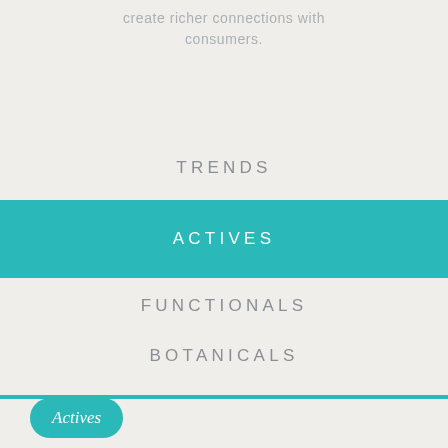create richer connections with consumers.
TRENDS
ACTIVES
FUNCTIONALS
BOTANICALS
Actives